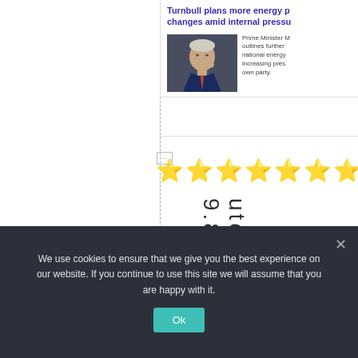Turnbull plans more energy p... changes amid internal pressu...
[Figure (photo): Photo of Prime Minister Malcolm Turnbull gesturing with his hand near his chin against a dark background, wearing a blue suit and orange tie.]
Prime Minister M... outlines further ... national energy ... increasing pres... own party.
[Figure (infographic): Row of 10 gold star emoji icons representing a rating.]
9.8outo
We use cookies to ensure that we give you the best experience on our website. If you continue to use this site we will assume that you are happy with it.